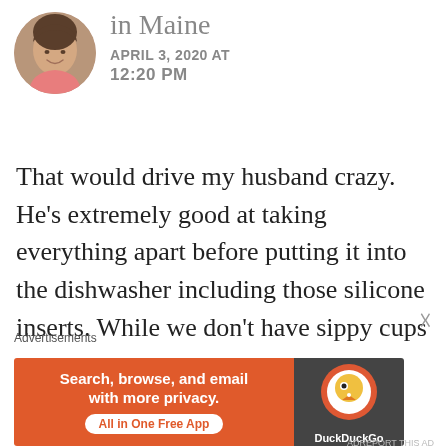[Figure (photo): Circular avatar photo of a woman smiling, wearing a pink top, outdoors.]
in Maine
APRIL 3, 2020 AT 12:20 PM
That would drive my husband crazy. He's extremely good at taking everything apart before putting it into the dishwasher including those silicone inserts. While we don't have sippy cups
Advertisements
[Figure (screenshot): DuckDuckGo advertisement banner: orange left side with text 'Search, browse, and email with more privacy. All in One Free App', right side dark with DuckDuckGo logo.]